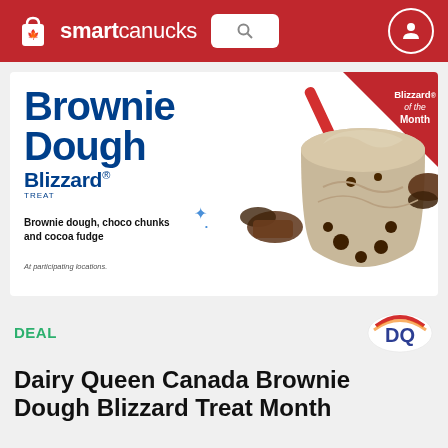smartcanucks
[Figure (illustration): Dairy Queen Brownie Dough Blizzard Treat advertisement. Large blue bold text reads 'Brownie Dough Blizzard TREAT' with description 'Brownie dough, choco chunks and cocoa fudge'. A red 'Blizzard of the Month' badge in the top right corner. An ice cream blizzard cup with a red spoon is shown on the right side with chocolate brownie chunks scattered around. Small text reads 'At participating locations.']
DEAL
[Figure (logo): Dairy Queen DQ logo]
Dairy Queen Canada Brownie Dough Blizzard Treat Month